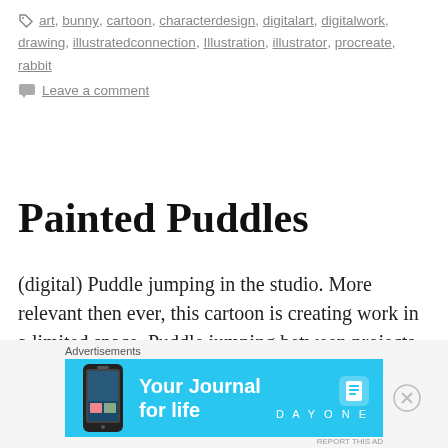art, bunny, cartoon, characterdesign, digitalart, digitalwork, drawing, illustratedconnection, Illustration, illustrator, procreate, rabbit
Leave a comment
Painted Puddles
(digital) Puddle jumping in the studio. More relevant then ever, this cartoon is creating work in a limited space. Puddle jumping between projects as paint covers the floor. Better wear your rain boots! Forrest Russell –@illustratedconnection
[Figure (screenshot): Advertisement banner for Day One journal app with cyan/blue background, showing a phone mockup on left, 'Your Journal for life' text in white, and Day One logo on right]